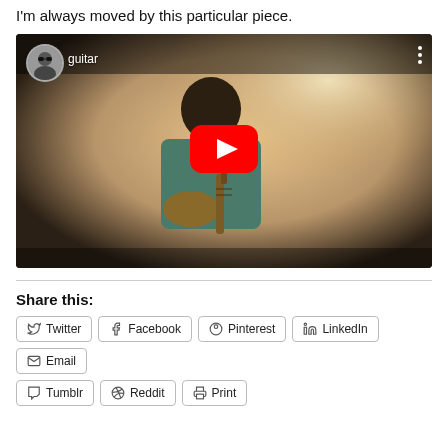I'm always moved by this particular piece.
[Figure (screenshot): Embedded YouTube video thumbnail showing a person playing an electric guitar in a room. The YouTube player interface is visible with a play button in the center, a circular avatar and the title 'guitar' in the top left, and three-dot menu in the top right.]
Share this:
Twitter
Facebook
Pinterest
LinkedIn
Email
Tumblr
Reddit
Print